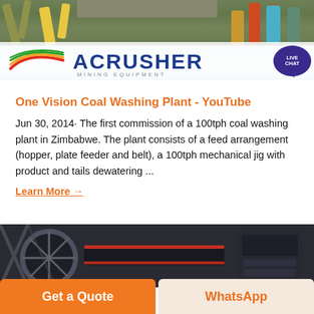[Figure (photo): ACrusher Mining Equipment banner with logo showing colorful swooshes, dark blue ACRUSHER text, and a LIVE CHAT bubble on right. Background shows industrial mining machinery.]
One Vision Coal Washing Plant - YouTube
Jun 30, 2014· The first commission of a 100tph coal washing plant in Zimbabwe. The plant consists of a feed arrangement (hopper, plate feeder and belt), a 100tph mechanical jig with product and tails dewatering ...
Learn More →
[Figure (photo): Close-up industrial photo of dark mining/processing equipment with drums, belts, and mechanical components.]
Get a Quote
WhatsApp